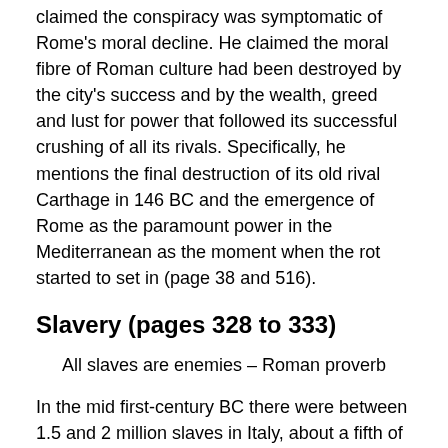wrote an essay about the Catiline conspiracy in which he claimed the conspiracy was symptomatic of Rome's moral decline. He claimed the moral fibre of Roman culture had been destroyed by the city's success and by the wealth, greed and lust for power that followed its successful crushing of all its rivals. Specifically, he mentions the final destruction of its old rival Carthage in 146 BC and the emergence of Rome as the paramount power in the Mediterranean as the moment when the rot started to set in (page 38 and 516).
Slavery (pages 328 to 333)
All slaves are enemies – Roman proverb
In the mid first-century BC there were between 1.5 and 2 million slaves in Italy, about a fifth of the population. There